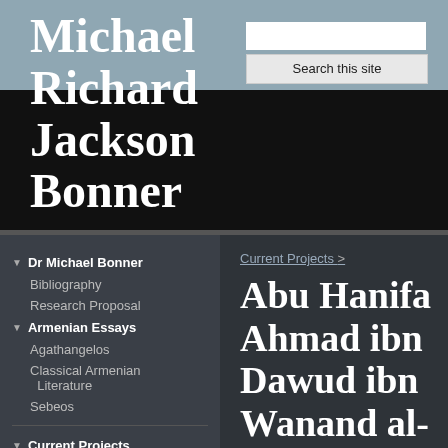Michael Richard Jackson Bonner
Search this site
Dr Michael Bonner
Bibliography
Research Proposal
Armenian Essays
Agathangelos
Classical Armenian Literature
Sebeos
Current Projects
Abu Hanifa Ahmad ibn Dawud ibn Wanand al-Dinawari
Current Projects >
Abu Hanifa Ahmad ibn Dawud ibn Wanand al-Dinawari (A.D. 828-895)